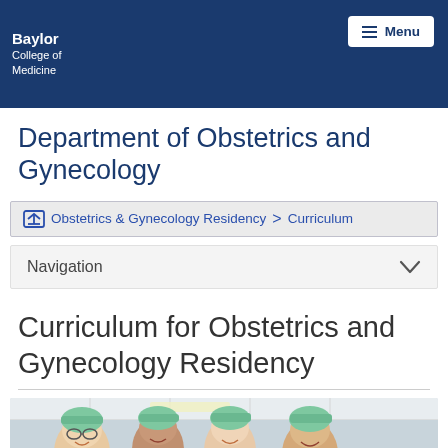Baylor College of Medicine
Department of Obstetrics and Gynecology
Obstetrics & Gynecology Residency > Curriculum
Navigation
Curriculum for Obstetrics and Gynecology Residency
[Figure (photo): Four medical residents wearing surgical caps smiling together in a clinical setting]